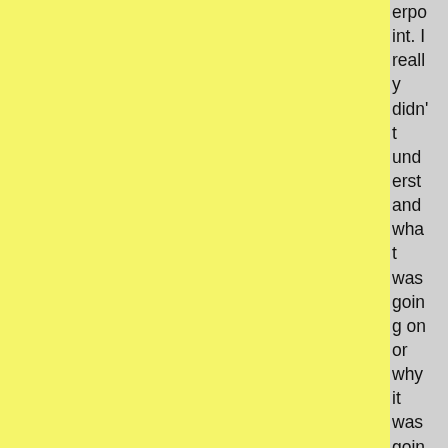erpoint. I really didn't understand what was going on or why it was going on. The reas